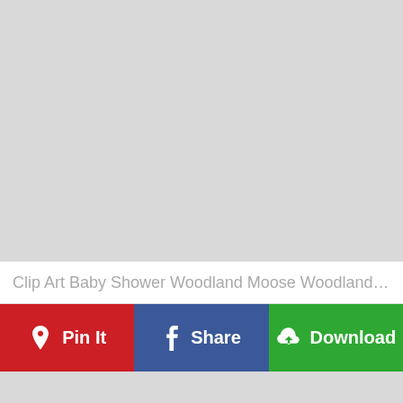[Figure (other): Gray placeholder area at top of page]
Clip Art Baby Shower Woodland Moose Woodland Bab...
Pin It  Share  Download
[Figure (other): Gray placeholder area at bottom of page]